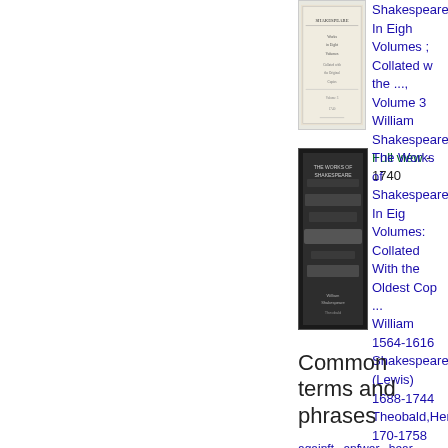[Figure (photo): Book cover thumbnail for Shakespeare: In Eight Volumes; Collated with the ..., Volume 3]
Shakespeare: In Eight Volumes ; Collated with the ..., Volume 3
William Shakespeare
Full view - 1740
[Figure (photo): Book cover thumbnail for The Works of Shakespeare: In Eight Volumes: Collated With the Oldest Copies ...]
The Works of Shakespeare: In Eight Volumes: Collated With the Oldest Copies ...
...
William 1564-1616 Shakespeare,MR (Lewis) 1688-1744 Theobald,Henry 170-1758 Lintot
No preview available - 2021
Common terms and phrases
againft
anfwer
bear
better
blood
bring
brother